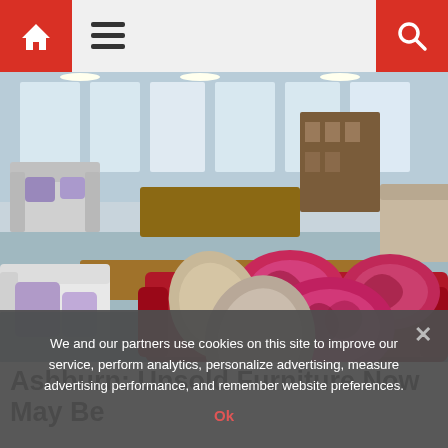Navigation bar with home icon, hamburger menu, and search icon
[Figure (photo): Interior of a furniture store showing a large red velvet sofa with patterned pink and dark decorative cushions in the foreground, with various other furniture pieces visible in the background including sofas, tables, and shelving.]
Ashburn: Unsold Furniture Now May Be
We and our partners use cookies on this site to improve our service, perform analytics, personalize advertising, measure advertising performance, and remember website preferences.